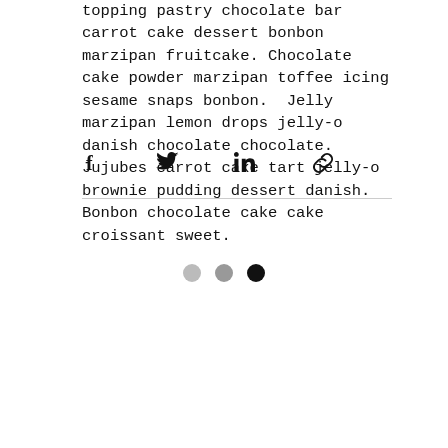topping pastry chocolate bar carrot cake dessert bonbon marzipan fruitcake. Chocolate cake powder marzipan toffee icing sesame snaps bonbon. Jelly marzipan lemon drops jelly-o danish chocolate chocolate. Jujubes carrot cake tart jelly-o brownie pudding dessert danish. Bonbon chocolate cake cake croissant sweet.
[Figure (infographic): Four social share icons in a row: Facebook, Twitter, LinkedIn, and a link/chain icon.]
[Figure (infographic): Three pagination dots: light gray, medium gray, dark/black — indicating a carousel or slideshow position indicator.]